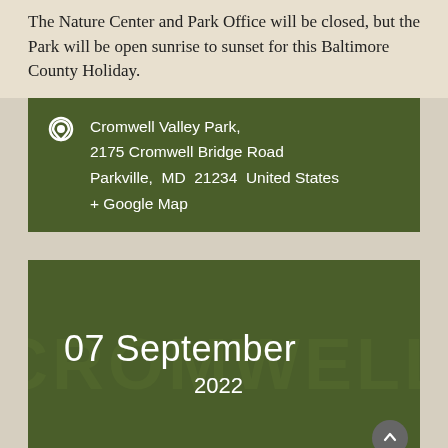The Nature Center and Park Office will be closed, but the Park will be open sunrise to sunset for this Baltimore County Holiday.
Cromwell Valley Park, 2175 Cromwell Bridge Road Parkville, MD 21234 United States + Google Map
07 September 2022
Senior Stroll
Ages 55+. Walking in nature provides benefits to both the